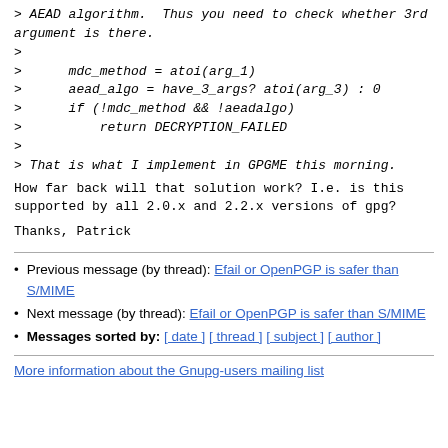> AEAD algorithm.  Thus you need to check whether 3rd argument is there.
>
>      mdc_method = atoi(arg_1)
>      aead_algo = have_3_args? atoi(arg_3) : 0
>      if (!mdc_method && !aeadalgo)
>          return DECRYPTION_FAILED
>
> That is what I implement in GPGME this morning.
How far back will that solution work? I.e. is this supported by all
2.0.x and 2.2.x versions of gpg?
Thanks,
Patrick
Previous message (by thread): Efail or OpenPGP is safer than S/MIME
Next message (by thread): Efail or OpenPGP is safer than S/MIME
Messages sorted by: [ date ] [ thread ] [ subject ] [ author ]
More information about the Gnupg-users mailing list